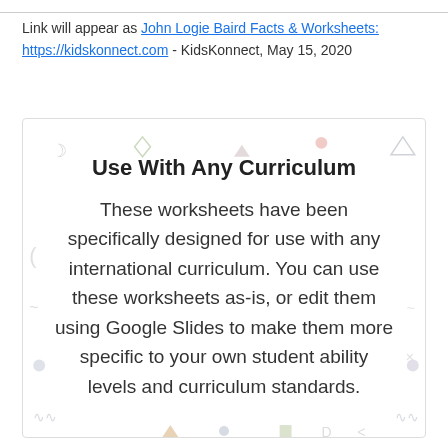Link will appear as John Logie Baird Facts & Worksheets: https://kidskonnect.com - KidsKonnect, May 15, 2020
Use With Any Curriculum
These worksheets have been specifically designed for use with any international curriculum. You can use these worksheets as-is, or edit them using Google Slides to make them more specific to your own student ability levels and curriculum standards.